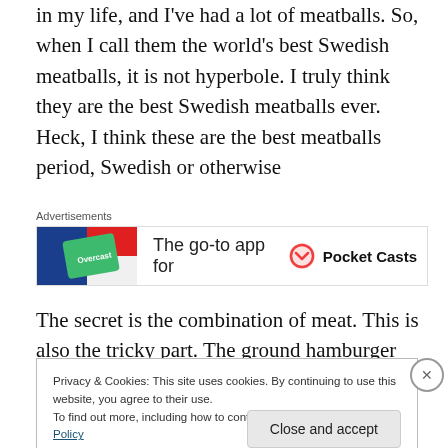in my life, and I've had a lot of meatballs. So, when I call them the world's best Swedish meatballs, it is not hyperbole. I truly think they are the best Swedish meatballs ever. Heck, I think these are the best meatballs period, Swedish or otherwise
[Figure (screenshot): Advertisement banner showing a Overcast podcast app card with text 'The go-to app for' and a Pocket Casts logo on the right]
The secret is the combination of meat. This is also the tricky part. The ground hamburger pork ratio has to be
Privacy & Cookies: This site uses cookies. By continuing to use this website, you agree to their use.
To find out more, including how to control cookies, see here: Cookie Policy
Close and accept